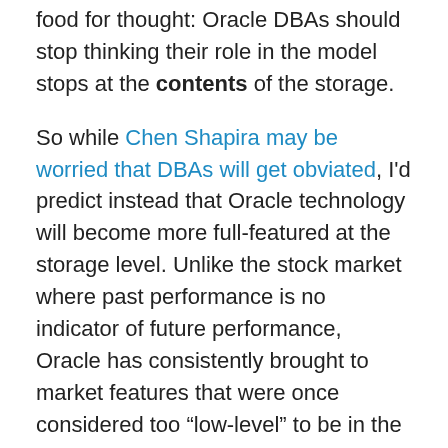food for thought: Oracle DBAs should stop thinking their role in the model stops at the contents of the storage.
So while Chen Shapira may be worried that DBAs will get obviated, I'd predict instead that Oracle technology will become more full-featured at the storage level. Unlike the stock market where past performance is no indicator of future performance, Oracle has consistently brought to market features that were once considered too “low-level” to be in the domain of a Database vendor.
The IT industry is going through consolidation. I think we’ll see Enterprise-level IT roles go through some consolidation over time as well. DBAs who can wear more than “one hat” will be more valuable to the enterprise. Instead of thinking about “encroachment” from the low-end database products, think about your increased value